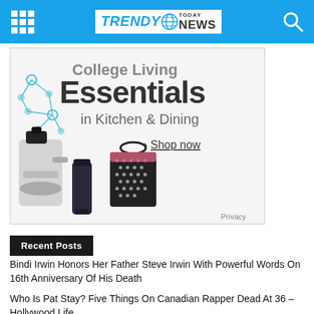Trendy Today News
[Figure (advertisement): College Living Essentials in Kitchen & Dining ad with juicer, tumbler, and tote bag. Shop now link. Privacy label.]
Recent Posts
Bindi Irwin Honors Her Father Steve Irwin With Powerful Words On 16th Anniversary Of His Death
Who Is Pat Stay? Five Things On Canadian Rapper Dead At 36 – Hollywood Life
Doc from Sackx Finna, Mia Imani, & Laurie Polisky Wins Gamechanger